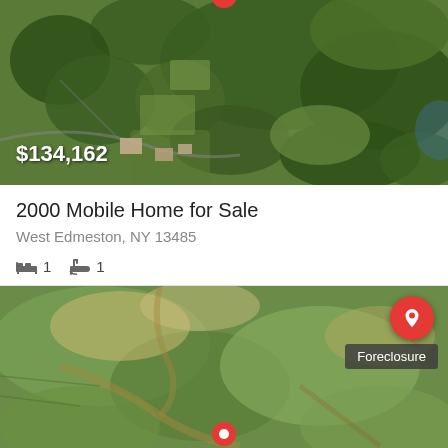[Figure (map): Aerial satellite map view of forested/wooded property with structures visible, showing a real estate listing pin marker at top]
$134,162
2000 Mobile Home for Sale
West Edmeston, NY 13485
1 bed  1 bath
[Figure (map): Aerial satellite map view of green fields/farmland with a Foreclosure badge and a location pin button in top right corner, and a red map pin at bottom center]